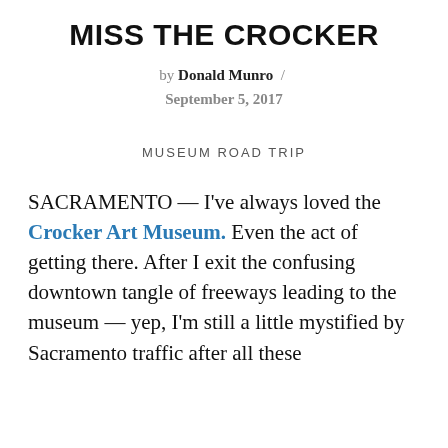MISS THE CROCKER
by Donald Munro / September 5, 2017
MUSEUM ROAD TRIP
SACRAMENTO — I've always loved the Crocker Art Museum. Even the act of getting there. After I exit the confusing downtown tangle of freeways leading to the museum — yep, I'm still a little mystified by Sacramento traffic after all these